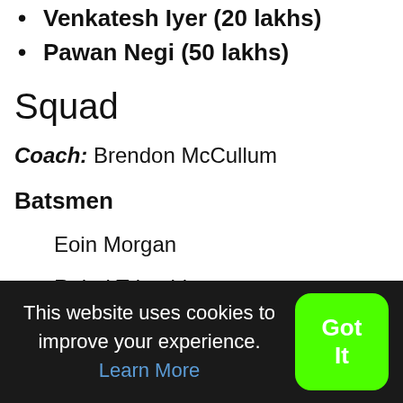Venkatesh Iyer (20 lakhs)
Pawan Negi (50 lakhs)
Squad
Coach: Brendon McCullum
Batsmen
Eoin Morgan
Rahul Tripathi
This website uses cookies to improve your experience. Learn More
Got It